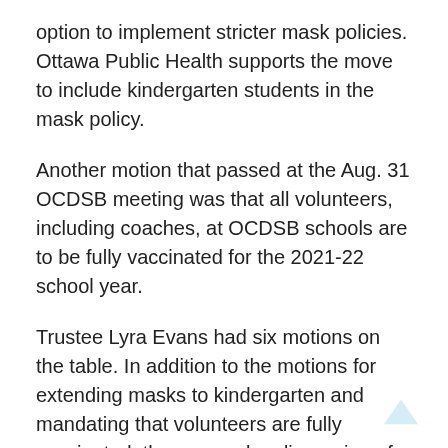option to implement stricter mask policies. Ottawa Public Health supports the move to include kindergarten students in the mask policy.
Another motion that passed at the Aug. 31 OCDSB meeting was that all volunteers, including coaches, at OCDSB schools are to be fully vaccinated for the 2021-22 school year.
Trustee Lyra Evans had six motions on the table. In addition to the motions for extending masks to kindergarten and mandating that volunteers are fully vaccinated, there was also discussion of requiring all staff members at OCDSB schools to be fully vaccinated. Mandatory vaccines for students, a medical education policy for students, and the continued provision of medical-grade masks to staff members were not discussed.